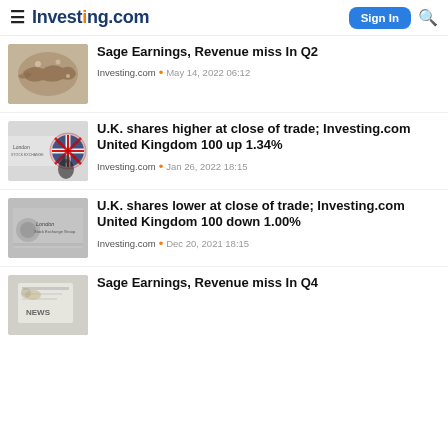Investing.com — Sign In
Sage Earnings, Revenue miss In Q2
Investing.com · May 14, 2022 06:12
U.K. shares higher at close of trade; Investing.com United Kingdom 100 up 1.34%
Investing.com · Jan 26, 2022 18:15
U.K. shares lower at close of trade; Investing.com United Kingdom 100 down 1.00%
Investing.com · Dec 20, 2021 18:15
Sage Earnings, Revenue miss In Q4